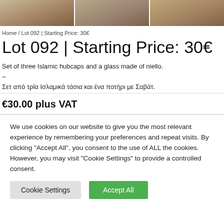[Figure (photo): Three partial images of Islamic hubcaps/bowls shown at the top of the page, cropped.]
Home / Lot 092 | Starting Price: 30€
Lot 092 | Starting Price: 30€
Set of three Islamic hubcaps and a glass made of niello.
~
Σετ από τρία Ισλαμικά τάσια και ένα ποτήρι με Σαβάτ.
€30.00 plus VAT
We use cookies on our website to give you the most relevant experience by remembering your preferences and repeat visits. By clicking "Accept All", you consent to the use of ALL the cookies. However, you may visit "Cookie Settings" to provide a controlled consent.